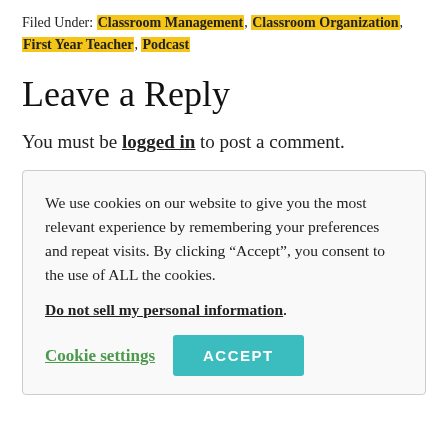Filed Under: Classroom Management, Classroom Organization, First Year Teacher, Podcast
Leave a Reply
You must be logged in to post a comment.
We use cookies on our website to give you the most relevant experience by remembering your preferences and repeat visits. By clicking “Accept”, you consent to the use of ALL the cookies.
Do not sell my personal information.
Cookie settings   ACCEPT